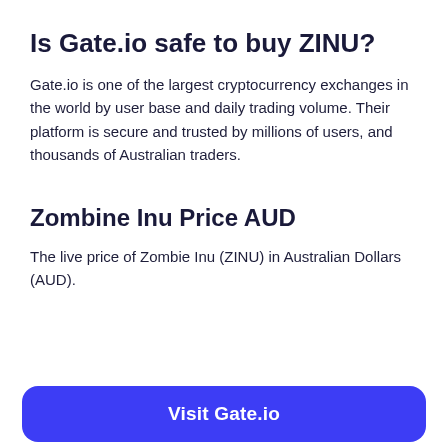Is Gate.io safe to buy ZINU?
Gate.io is one of the largest cryptocurrency exchanges in the world by user base and daily trading volume. Their platform is secure and trusted by millions of users, and thousands of Australian traders.
Zombine Inu Price AUD
The live price of Zombie Inu (ZINU) in Australian Dollars (AUD).
Visit Gate.io